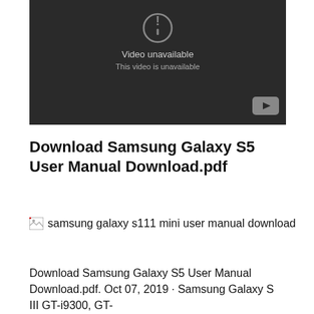[Figure (screenshot): YouTube video player showing 'Video unavailable / This video is unavailable' message on a dark background with a YouTube logo button in the bottom right corner.]
Download Samsung Galaxy S5 User Manual Download.pdf
[Figure (photo): Broken image placeholder with alt text: samsung galaxy s111 mini user manual download]
Download Samsung Galaxy S5 User Manual Download.pdf. Oct 07, 2019 · Samsung Galaxy S III GT-i9300, GT-